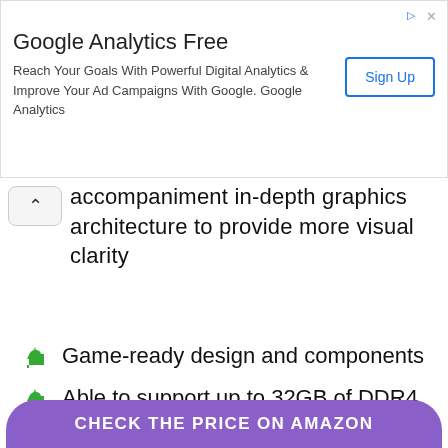[Figure (other): Google Analytics Free advertisement banner with Sign Up button]
accompaniment in-depth graphics architecture to provide more visual clarity
Game-ready design and components
Able to support up to 32GB of DDR4 memory
Cons
It does not has a disc drive for games
CHECK THE PRICE ON AMAZON